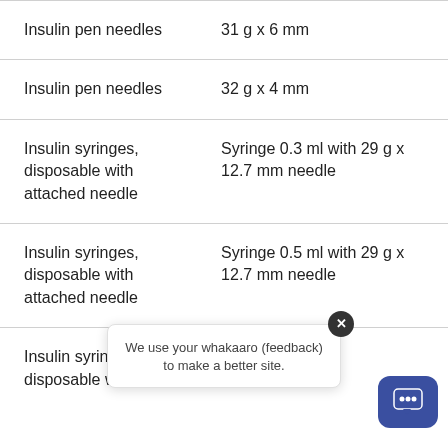| Product | Specification |
| --- | --- |
| Insulin pen needles | 31 g x 6 mm |
| Insulin pen needles | 32 g x 4 mm |
| Insulin syringes, disposable with attached needle | Syringe 0.3 ml with 29 g x 12.7 mm needle |
| Insulin syringes, disposable with attached needle | Syringe 0.5 ml with 29 g x 12.7 mm needle |
| Insulin syringes, disposable with | h 29 g 12.7 mm needle |
We use your whakaaro (feedback) to make a better site.